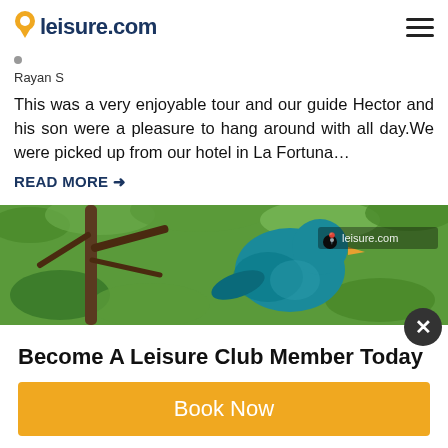leisure.com
Rayan S
This was a very enjoyable tour and our guide Hector and his son were a pleasure to hang around with all day.We were picked up from our hotel in La Fortuna…
READ MORE →
[Figure (photo): A teal/blue bird perched on a branch surrounded by green foliage, with leisure.com watermark in the upper right corner]
Become A Leisure Club Member Today
Book Now
Let Us Plan Your Trip